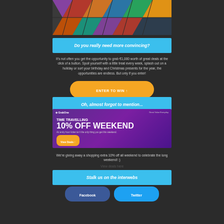[Figure (photo): Collage mosaic of various lifestyle and product photos in triangular/diamond shapes]
Do you really need more convincing?
It's not often you get the opportunity to grab €1,000 worth of great deals at the click of a button. Spoil yourself with a little treat every week, splash out on a holiday or sort your birthday and Christmas presents for the year, the opportunities are endless. But only if you enter!
ENTER TO WIN ↑
Oh, almost forgot to mention...
[Figure (screenshot): GrabOne TIME TRAVELLING 10% OFF WEEKEND promotional banner with yellow View Deals button]
We're giving away a shopping extra 10% off all weekend to celebrate the long weekend! :)
View deals here
Stalk us on the interwebs
Facebook
Twitter